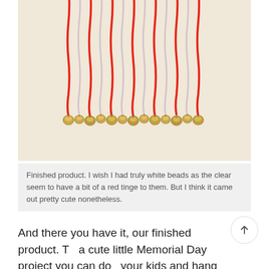[Figure (photo): Photo of a finished craft project: red and white/clear strings hanging vertically with small gold jingle bells tied at the bottom, arranged in a row on a cream/beige background.]
Finished product. I wish I had truly white beads as the clear seem to have a bit of a red tinge to them. But I think it came out pretty cute nonetheless.
And there you have it, our finished product. T[h]is a cute little Memorial Day project you can do [with] your kids and hang outside a window or on your